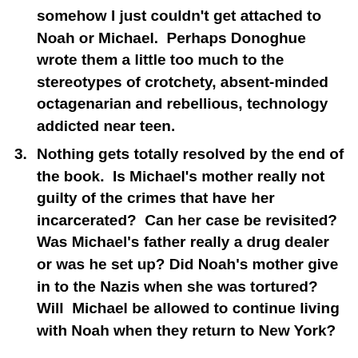somehow I just couldn't get attached to Noah or Michael.  Perhaps Donoghue wrote them a little too much to the stereotypes of crotchety, absent-minded octagenarian and rebellious, technology addicted near teen.
Nothing gets totally resolved by the end of the book.  Is Michael's mother really not guilty of the crimes that have her incarcerated?  Can her case be revisited?  Was Michael's father really a drug dealer or was he set up? Did Noah's mother give in to the Nazis when she was tortured? Will  Michael be allowed to continue living with Noah when they return to New York?
I think you should read the book, Akin.  It is by an excellent author and the premise for the story is stellar.  But I have to admit it was not one of my...